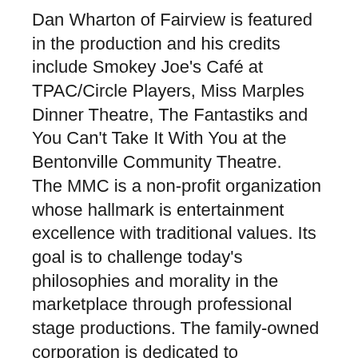Dan Wharton of Fairview is featured in the production and his credits include Smokey Joe's Café at TPAC/Circle Players, Miss Marples Dinner Theatre, The Fantastiks and You Can't Take It With You at the Bentonville Community Theatre.
The MMC is a non-profit organization whose hallmark is entertainment excellence with traditional values. Its goal is to challenge today's philosophies and morality in the marketplace through professional stage productions. The family-owned corporation is dedicated to encouraging positive values through a non-sectarian biblical world view that will affect and strengthen the society where they live.
Performances of When the Prophets Dance will be held at The W Building, a state-of-the-